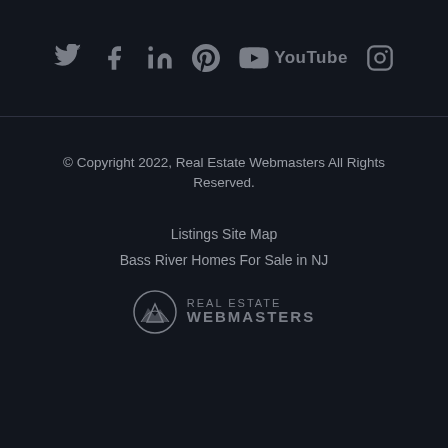[Figure (other): Social media icons row: Twitter, Facebook, LinkedIn, Pinterest, YouTube (with text label), Instagram]
© Copyright 2022, Real Estate Webmasters All Rights Reserved.
Listings Site Map
Bass River Homes For Sale in NJ
[Figure (logo): Real Estate Webmasters logo with mountain/circle icon and text REAL ESTATE WEBMASTERS]